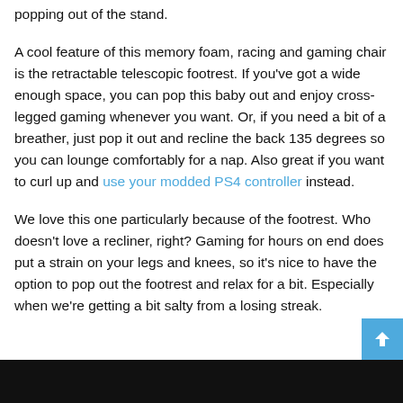popping out of the stand.
A cool feature of this memory foam, racing and gaming chair is the retractable telescopic footrest. If you've got a wide enough space, you can pop this baby out and enjoy cross-legged gaming whenever you want. Or, if you need a bit of a breather, just pop it out and recline the back 135 degrees so you can lounge comfortably for a nap. Also great if you want to curl up and use your modded PS4 controller instead.
We love this one particularly because of the footrest. Who doesn't love a recliner, right? Gaming for hours on end does put a strain on your legs and knees, so it's nice to have the option to pop out the footrest and relax for a bit. Especially when we're getting a bit salty from a losing streak.
[Figure (other): Black bar at the bottom of the page, likely the start of an image or video thumbnail]